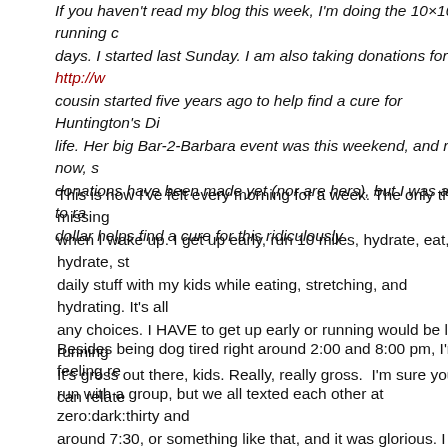If you haven't read my blog this week, I'm doing the 10×10 running challenge — 10 miles a day for 10 days. I started last Sunday. I am also taking donations for http://w... a charity my cousin started five years ago to help find a cure for Huntington's Di... which has affected her life. Her big Bar-2-Barbara event was this weekend, and right now, s... no online donations have been made yet (nor are hers), but I was able to ra... Every dollar helps find a cure for this ridiculously...
This is how I've felt every morning for a week. The only thing missing is when I wake up. I get up early, run 10 miles, hydrate, eat, hydrate, st... daily stuff with my kids while eating, stretching, and hydrating. It's all any choices. I HAVE to get up early or running would be like running It's gross out there, kids. Really, really gross. I'm sure you can relate...
Besides being dog tired right around 2:00 and 8:00 pm, I'm feeling re... run with a group, but we all texted each other at zero:dark:thirty and around 7:30, or something like that, and it was glorious. I felt a lot be... having to run in even warmer conditions. It was worth it though. I dec... trail that has a lot of shade, which I'm very glad I did. I think it was a... 83 and humidity levels were at 120%. I guess that's what you get wh... visualized a good strong run. Something came over me and I knew it... good, but stayed a little slower than brought my per mile times dow...